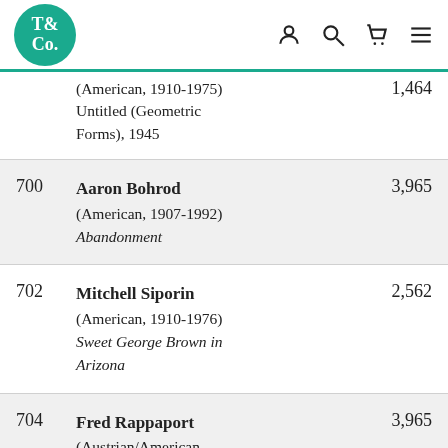T& Co. logo and navigation icons
| Lot | Artist / Work | Price |
| --- | --- | --- |
|  | (American, 1910-1975)
Untitled (Geometric Forms), 1945 | 1,464 |
| 700 | Aaron Bohrod
(American, 1907-1992)
Abandonment | 3,965 |
| 702 | Mitchell Siporin
(American, 1910-1976)
Sweet George Brown in Arizona | 2,562 |
| 704 | Fred Rappaport
(Austrian/American, 1912-1989)
Self Portrait with Chicago Skyline, 1952 | 3,965 |